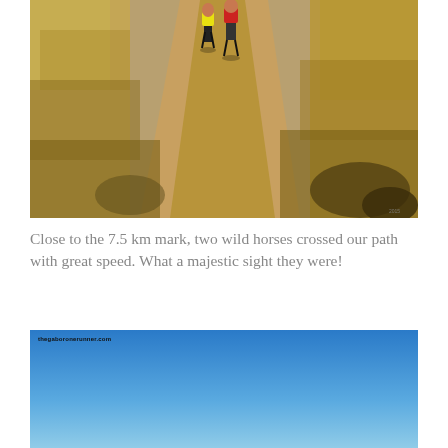[Figure (photo): Trail running photo showing two runners on a dry dirt path surrounded by dry golden grass and brush, viewed from behind]
Close to the 7.5 km mark, two wild horses crossed our path with great speed. What a majestic sight they were!
[Figure (photo): Blue sky photo with gradient from deep blue at top to lighter blue near horizon, with a small watermark reading thegaboronerunner.com]